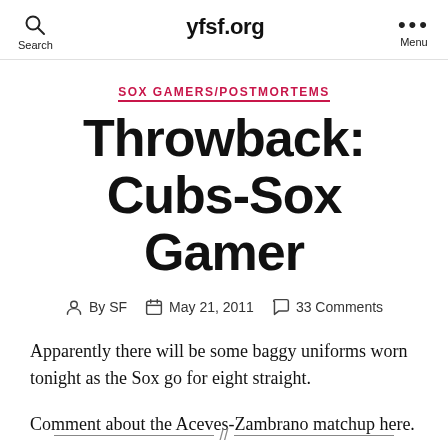yfsf.org
SOX GAMERS/POSTMORTEMS
Throwback: Cubs-Sox Gamer
By SF  May 21, 2011  33 Comments
Apparently there will be some baggy uniforms worn tonight as the Sox go for eight straight.
Comment about the Aceves-Zambrano matchup here.